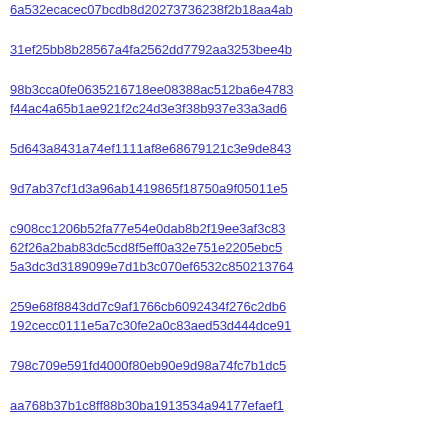6a532ecacec07bcdb8d20273736238f2b18aa4ab | Rick M... MS_T...
31ef25bb8b28567a4fa2562dd7792aa3253bee4b | Marga... toolba...
98b3cca0fe0635216718ee08388ac512ba6e4783 | Kann...
f44ac4a65b1ae921f2c24d3e3f38b937e33a3ad6 | Nick A... "Plea...
5d643a8431a74ef1111af8e68679121c3e9de843 | Benja... query...
9d7ab37cf1d3a96ab1419865f18750a9f05011e5 | Joey ... r=gps...
c908cc1206b52fa77e54e0dab8b2f19ee3af3c83 | Ed Mo...
62f26a2bab83dc5cd8f5eff0a32e751e2205ebc5 | Beno...
5a3dc3d3189099e7d1b3c070ef6532c850213764 | Josh ... threa...
259e68f8843dd7c9af1766cb6092434f276c2db6 | Andre...
192cecc0111e5a7c30fe2a0c83aed53d444dce91 | Andre... HTML...
798c709e591fd4000f80eb90e9d98a74fc7b1dc5 | Boris... callba...
aa768b37b1c8ff88b30ba1913534a94177efaef1 | Boris... NS_N... since...
f523cbfd3be8a57eb1bd911b4d9e1c17eddc7b78 | Jacek...
5458a7880db538d4eb3f9d9b4949fe160bf1af11 | Joey ... clean...
01068ed464ca38db18c51ae7f57154ff2684a640 | Hann... JSOP...